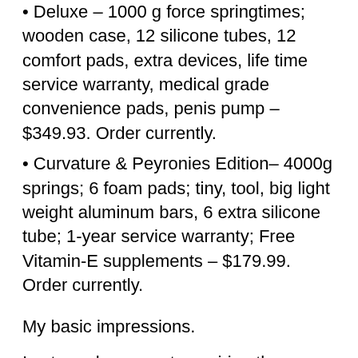• Deluxe – 1000 g force springtimes; wooden case, 12 silicone tubes, 12 comfort pads, extra devices, life time service warranty, medical grade convenience pads, penis pump – $349.93. Order currently.
• Curvature & Peyronies Edition– 4000g springs; 6 foam pads; tiny, tool, big light weight aluminum bars, 6 extra silicone tube; 1-year service warranty; Free Vitamin-E supplements – $179.99. Order currently.
My basic impressions.
I extremely suggest acquiring the Deluxe package, which includes the maximum variety of accessories for convenience and fine-tuning your gadget. The plan likewise includes a penis pump that can be made use of for continuous improvements.